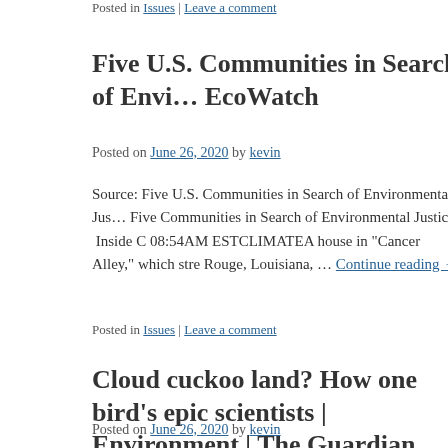Posted in Issues | Leave a comment
Five U.S. Communities in Search of Environmental Justice | EcoWatch
Posted on June 26, 2020 by kevin
Source: Five U.S. Communities in Search of Environmental Justice Five Communities in Search of Environmental Justice  Inside C 08:54AM ESTCLIMATEA house in "Cancer Alley," which stre Rouge, Louisiana, … Continue reading →
Posted in Issues | Leave a comment
Cloud cuckoo land? How one bird's epic scientists | Environment | The Guardian
Posted on June 26, 2020 by kevin
Source: Cloud cuckoo land? How one bird's epic migration stur